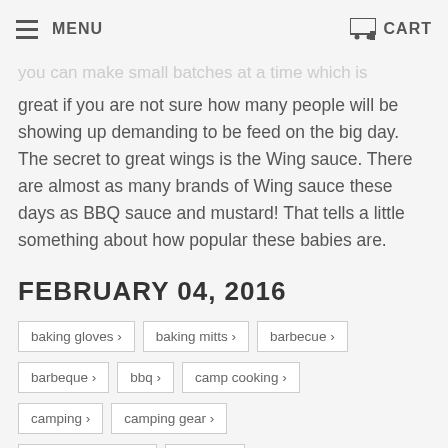MENU | CART
you can make small batches at a time which is great if you are not sure how many people will be showing up demanding to be feed on the big day. The secret to great wings is the Wing sauce. There are almost as many brands of Wing sauce these days as BBQ sauce and mustard! That tells a little something about how popular these babies are.
FEBRUARY 04, 2016
baking gloves ›
baking mitts ›
barbecue ›
barbeque ›
bbq ›
camp cooking ›
camping ›
camping gear ›
camping supplies ›
cooking ›